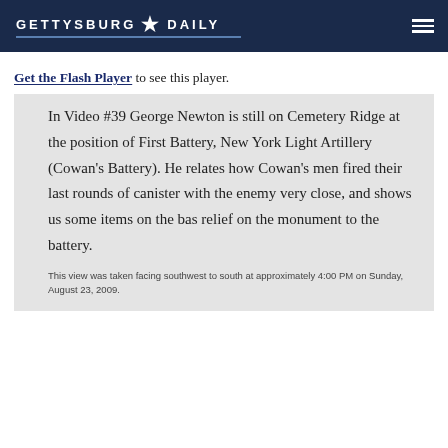GETTYSBURG ★ DAILY
Get the Flash Player to see this player.
In Video #39 George Newton is still on Cemetery Ridge at the position of First Battery, New York Light Artillery (Cowan's Battery). He relates how Cowan's men fired their last rounds of canister with the enemy very close, and shows us some items on the bas relief on the monument to the battery.
This view was taken facing southwest to south at approximately 4:00 PM on Sunday, August 23, 2009.